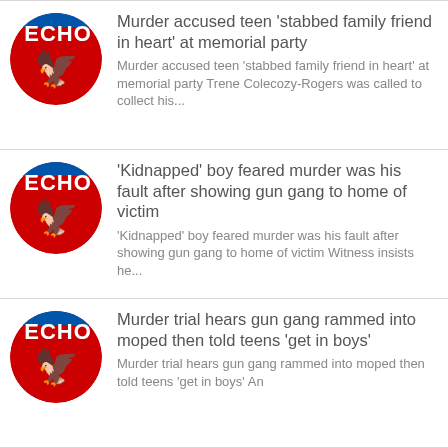[Figure (logo): Liverpool Echo logo — red circle with white Liver bird and ECHO text, blue strip at top]
Murder accused teen ‘stabbed family friend in heart’ at memorial party
Murder accused teen ‘stabbed family friend in heart’ at memorial party Trene Colecozy-Rogers was called to collect his...
[Figure (logo): Liverpool Echo logo — red circle with white Liver bird and ECHO text, blue strip at top]
‘Kidnapped’ boy feared murder was his fault after showing gun gang to home of victim
‘Kidnapped’ boy feared murder was his fault after showing gun gang to home of victim Witness insists he...
[Figure (logo): Liverpool Echo logo — red circle with white Liver bird and ECHO text, blue strip at top]
Murder trial hears gun gang rammed into moped then told teens ‘get in boys’
Murder trial hears gun gang rammed into moped then told teens ‘get in boys’ An